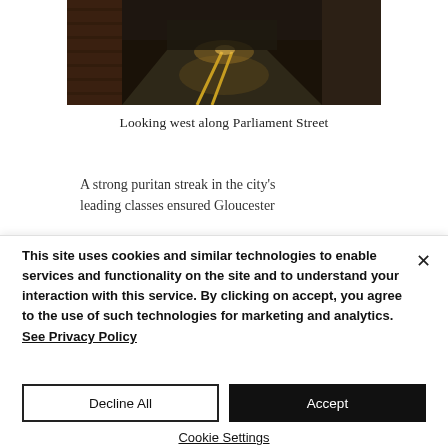[Figure (photo): Night-time photograph looking west along Parliament Street, showing a narrow cobbled road curving away into the distance with amber street lighting and brick buildings on either side.]
Looking west along Parliament Street
A strong puritan streak in the city's leading classes ensured Gloucester
This site uses cookies and similar technologies to enable services and functionality on the site and to understand your interaction with this service. By clicking on accept, you agree to the use of such technologies for marketing and analytics. See Privacy Policy